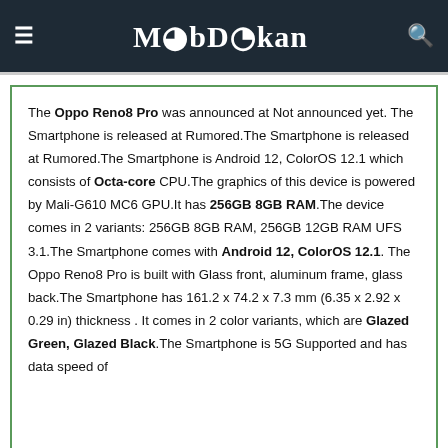MobDokan
The Oppo Reno8 Pro was announced at Not announced yet. The Smartphone is released at Rumored.The Smartphone is released at Rumored.The Smartphone is Android 12, ColorOS 12.1 which consists of Octa-core CPU.The graphics of this device is powered by Mali-G610 MC6 GPU.It has 256GB 8GB RAM.The device comes in 2 variants: 256GB 8GB RAM, 256GB 12GB RAM UFS 3.1.The Smartphone comes with Android 12, ColorOS 12.1. The Oppo Reno8 Pro is built with Glass front, aluminum frame, glass back.The Smartphone has 161.2 x 74.2 x 7.3 mm (6.35 x 2.92 x 0.29 in) thickness . It comes in 2 color variants, which are Glazed Green, Glazed Black.The Smartphone is 5G Supported and has data speed of